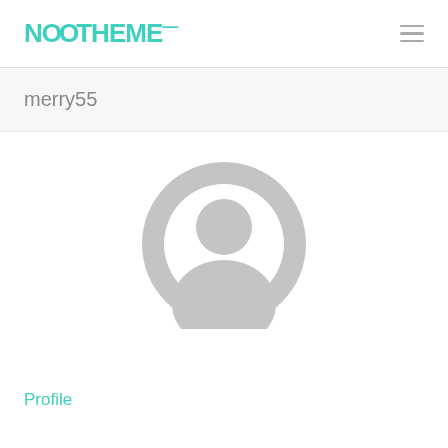NOOTHEME
merry55
[Figure (illustration): Default user avatar: a grey circular silhouette showing a head and shoulders profile icon on a white background]
Profile